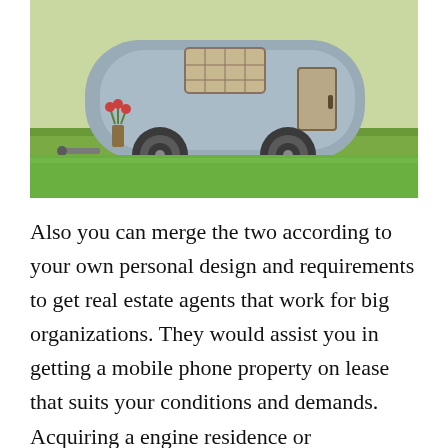[Figure (photo): A decorative miniature vintage caravan/trailer toy sitting on green grass, painted light blue/grey with rustic wooden accents and small decorative plants.]
Also you can merge the two according to your own personal design and requirements to get real estate agents that work for big organizations. They would assist you in getting a mobile phone property on lease that suits your conditions and demands. Acquiring a engine residence or recreationals car on lease also necessitates the individual to endure a difficult procedure of financing and covering